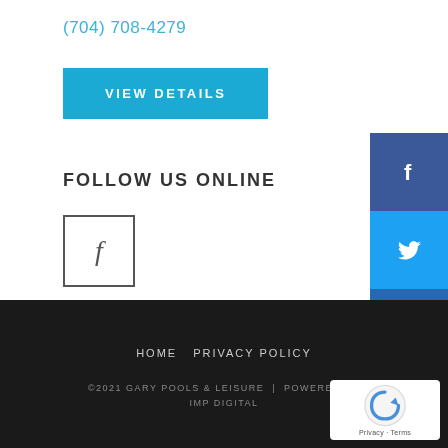(704) 708-4279
VIEW DETAILS
FOLLOW US ONLINE
[Figure (other): Facebook icon in a bordered box]
SHOP ONLINE NOW
[Figure (other): Social media sidebar with Facebook, Twitter, LinkedIn, Pinterest, and Email buttons]
HOME  PRIVACY POLICY  ©2021 GARY POOLS & LEISURE | POWERED BY IMP DIGITAL